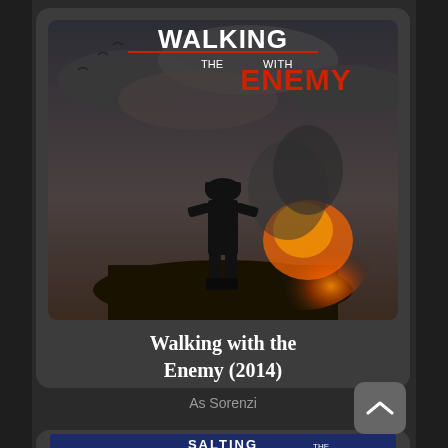[Figure (photo): Movie poster for 'Walking with the Enemy' (2014) showing a soldier figure standing on rubble with fire/explosion behind them and ominous cloudy sky. Title text at top reads 'WALKING WITH THE ENEMY' in bold white and red letters.]
Walking with the Enemy (2014)
As Sorenzi
[Figure (photo): Partial movie poster for 'Salting the Battlefield' visible at bottom of screen, showing dark blue background with white title text.]